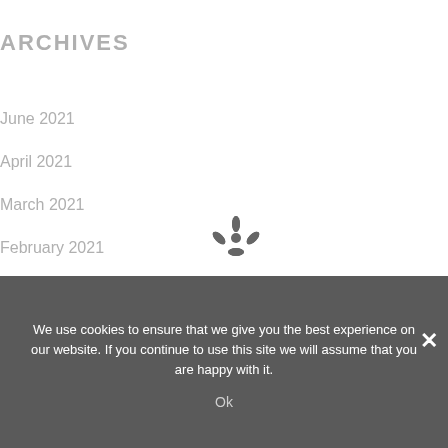ARCHIVES
June 2021
April 2021
March 2021
February 2021
January 2019
August 2018
[Figure (illustration): Decorative flower/snowflake icon in dark gray]
We use cookies to ensure that we give you the best experience on our website. If you continue to use this site we will assume that you are happy with it.
Ok